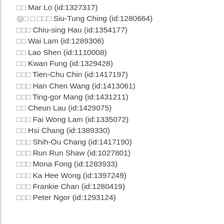□□ Mar Lo (id:1327317)
◎□ □ □□□ Siu-Tung Ching (id:1280664)
□□□ Chiu-sing Hau (id:1354177)
□□ Wai Lam (id:1289306)
□□ Lao Shen (id:1110008)
□□ Kwan Fung (id:1329428)
□□□ Tien-Chu Chin (id:1417197)
□□□ Han Chen Wang (id:1413061)
□□□ Ting-gor Mang (id:1431211)
□□ Cheun Lau (id:1429075)
□□□ Fai Wong Lam (id:1335072)
□□ Hsi Chang (id:1389330)
□□□ Shih-Ou Chang (id:1417190)
□□□ Run Run Shaw (id:1027801)
□□□ Mona Fong (id:1283933)
□□□ Ka Hee Wong (id:1397249)
□□□ Frankie Chan (id:1280419)
□□□ Peter Ngor (id:1293124)